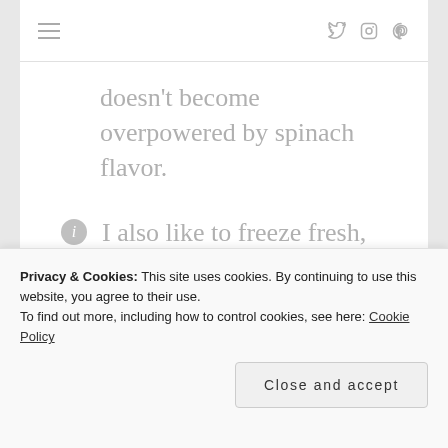≡  [twitter] [instagram] [pinterest]
doesn't become overpowered by spinach flavor.
I also like to freeze fresh, pre-washed spinach right in the container it comes in for use in smoothie recipes like this.
Privacy & Cookies: This site uses cookies. By continuing to use this website, you agree to their use.
To find out more, including how to control cookies, see here: Cookie Policy
Close and accept